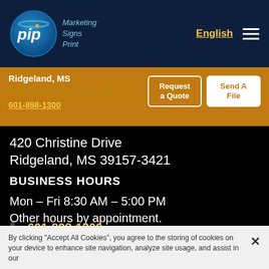[Figure (logo): PIP Marketing Signs Print logo with blue circle and white text]
English
Ridgeland, MS
PIP RIDGELAND
601-898-1300
Request a Quote
Send A File
420 Christine Drive
Ridgeland, MS 39157-3421
BUSINESS HOURS
Mon – Fri 8:30 AM – 5:00 PM
Other hours by appointment.
601-898-1300
By clicking "Accept All Cookies", you agree to the storing of cookies on your device to enhance site navigation, analyze site usage, and assist in our